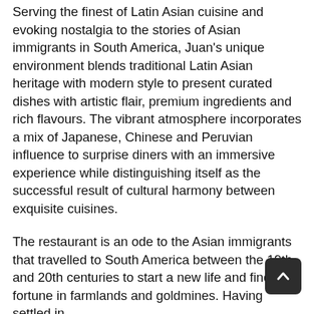Serving the finest of Latin Asian cuisine and evoking nostalgia to the stories of Asian immigrants in South America, Juan's unique environment blends traditional Latin Asian heritage with modern style to present curated dishes with artistic flair, premium ingredients and rich flavours. The vibrant atmosphere incorporates a mix of Japanese, Chinese and Peruvian influence to surprise diners with an immersive experience while distinguishing itself as the successful result of cultural harmony between exquisite cuisines.
The restaurant is an ode to the Asian immigrants that travelled to South America between the 19th and 20th centuries to start a new life and find their fortune in farmlands and goldmines. Having settled in